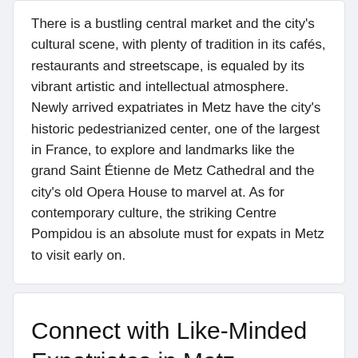There is a bustling central market and the city's cultural scene, with plenty of tradition in its cafés, restaurants and streetscape, is equaled by its vibrant artistic and intellectual atmosphere. Newly arrived expatriates in Metz have the city's historic pedestrianized center, one of the largest in France, to explore and landmarks like the grand Saint Étienne de Metz Cathedral and the city's old Opera House to marvel at. As for contemporary culture, the striking Centre Pompidou is an absolute must for expats in Metz to visit early on.
Connect with Like-Minded Expatriates in Metz
Community Member
Join Now